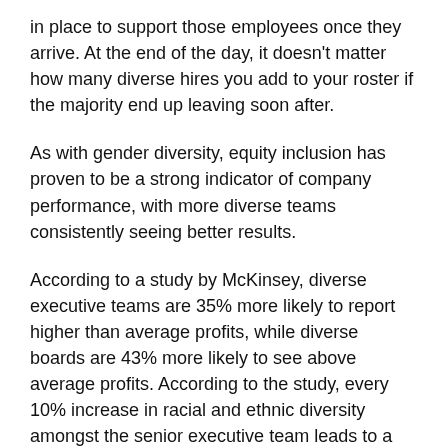in place to support those employees once they arrive. At the end of the day, it doesn't matter how many diverse hires you add to your roster if the majority end up leaving soon after.
As with gender diversity, equity inclusion has proven to be a strong indicator of company performance, with more diverse teams consistently seeing better results.
According to a study by McKinsey, diverse executive teams are 35% more likely to report higher than average profits, while diverse boards are 43% more likely to see above average profits. According to the study, every 10% increase in racial and ethnic diversity amongst the senior executive team leads to a 0.8% increase in earnings.